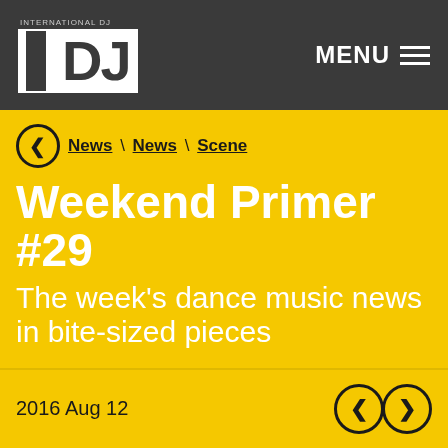INTERNATIONAL DJ IDJ — MENU
News \ News \ Scene
Weekend Primer #29
The week's dance music news in bite-sized pieces
2016 Aug 12
[Figure (illustration): Dark circular graphic with cyan and magenta arcs on black background, partial view]